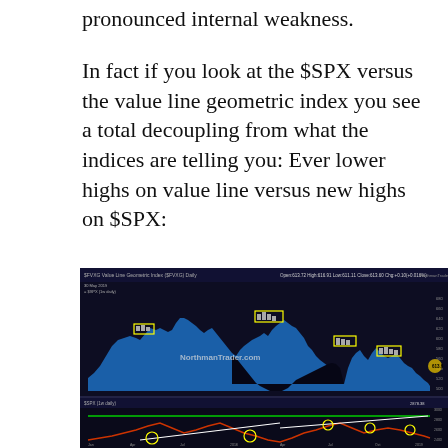pronounced internal weakness.
In fact if you look at the $SPX versus the value line geometric index you see a total decoupling from what the indices are telling you: Ever lower highs on value line versus new highs on $SPX:
[Figure (continuous-plot): A dark-background financial chart showing the $SPX vs Value Line Geometric Index. The upper panel shows a blue area chart of the Value Line Geometric Index with yellow-boxed annotations marking successive lower highs. The lower panel shows $SPX with red candlestick/line chart and yellow circled annotations with white trendlines showing divergence. Watermark: NorthmanTrader.com]